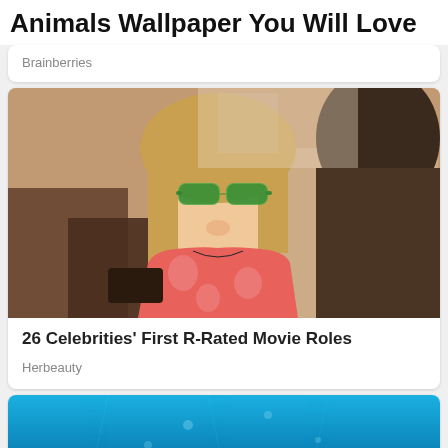Animals Wallpaper You Will Love
Brainberries
[Figure (photo): A young woman with blonde hair wearing green sunglasses and a pink floral top, sitting across from a man in a restaurant scene from a movie]
26 Celebrities' First R-Rated Movie Roles
Herbeauty
[Figure (photo): Underwater scene with blue water, partially visible at bottom of page]